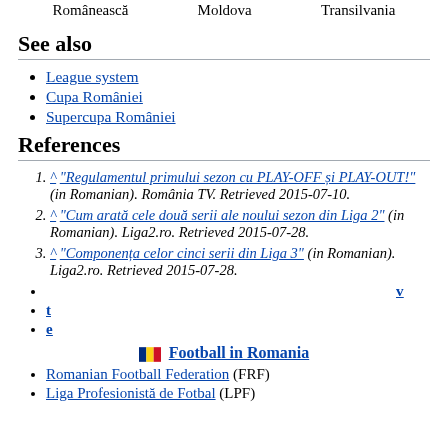| Românească | Moldova | Transilvania |
| --- | --- | --- |
|   |   |   |
See also
League system
Cupa României
Supercupa României
References
^ "Regulamentul primului sezon cu PLAY-OFF și PLAY-OUT!" (in Romanian). România TV. Retrieved 2015-07-10.
^ "Cum arată cele două serii ale noului sezon din Liga 2" (in Romanian). Liga2.ro. Retrieved 2015-07-28.
^ "Componența celor cinci serii din Liga 3" (in Romanian). Liga2.ro. Retrieved 2015-07-28.
v
t
e
Football in Romania
Romanian Football Federation (FRF)
Liga Profesionistă de Fotbal (LPF)